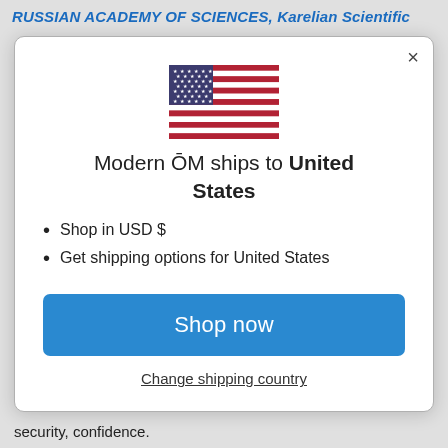RUSSIAN ACADEMY OF SCIENCES, Karelian Scientific
[Figure (illustration): US flag icon SVG illustration inside a modal dialog]
Modern ŌM ships to United States
Shop in USD $
Get shipping options for United States
Shop now
Change shipping country
security, confidence.